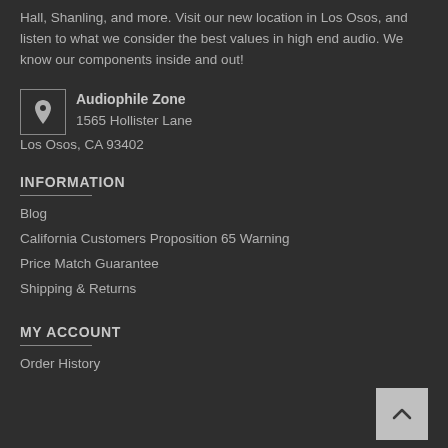Hall, Shanling, and more. Visit our new location in Los Osos, and listen to what we consider the best values in high end audio. We know our components inside and out!
Audiophile Zone
1565 Hollister Lane
Los Osos, CA 93402
INFORMATION
Blog
California Customers Proposition 65 Warning
Price Match Guarantee
Shipping & Returns
MY ACCOUNT
Order History